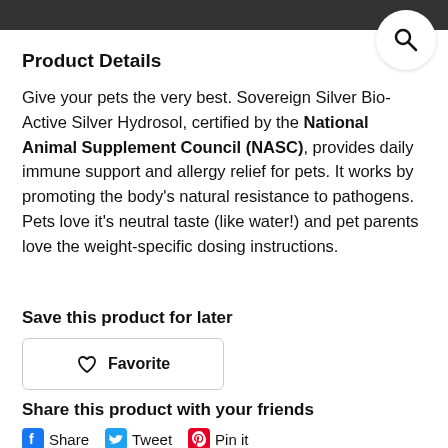Product Details
Give your pets the very best. Sovereign Silver Bio-Active Silver Hydrosol, certified by the National Animal Supplement Council (NASC), provides daily immune support and allergy relief for pets. It works by promoting the body's natural resistance to pathogens. Pets love it's neutral taste (like water!) and pet parents love the weight-specific dosing instructions.
Save this product for later
Favorite
Share this product with your friends
Share   Tweet   Pin it